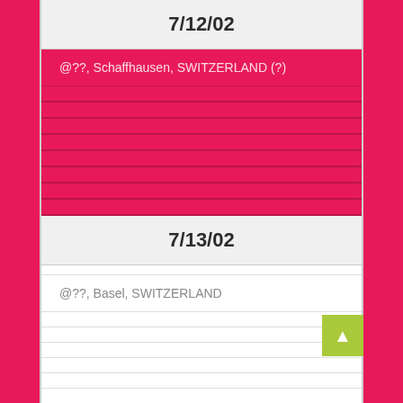7/12/02
@??, Schaffhausen, SWITZERLAND (?)
7/13/02
@??, Basel, SWITZERLAND
7/15/02